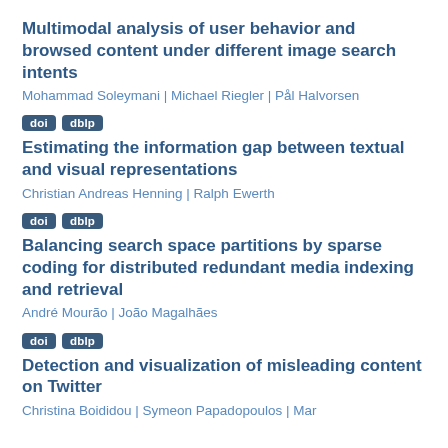Multimodal analysis of user behavior and browsed content under different image search intents
Mohammad Soleymani | Michael Riegler | Pål Halvorsen
doi   dblp
Estimating the information gap between textual and visual representations
Christian Andreas Henning | Ralph Ewerth
doi   dblp
Balancing search space partitions by sparse coding for distributed redundant media indexing and retrieval
André Mourão | João Magalhães
doi   dblp
Detection and visualization of misleading content on Twitter
Christina Boididou | Symeon Papadopoulos | Mark...